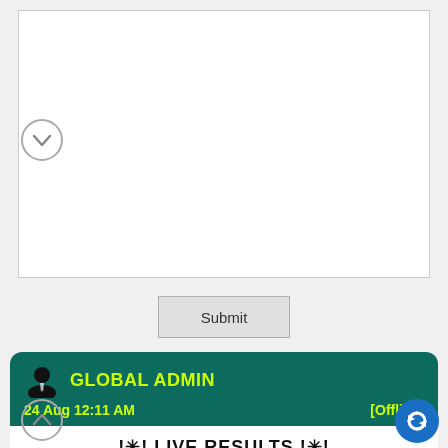[Figure (screenshot): White text input area box with border]
[Figure (other): Circular chevron-down button on left side of textarea]
[Figure (other): Submit button]
[Figure (screenshot): Admin message card with dark green header showing GLOBAL ADMIN icon, name, date 24 Aug 12:11 AM and [Offline] status]
GLOBAL ADMIN
24 Aug 12:11 AM
[Offline]
!✳! LIVE RESULTS !✳!
● ✦ MAIN BAZER ✦ ●
. . . . . . . . . . . .
568-99-559
. . . . . . . . . . . .
[Figure (other): Circular chevron-up button bottom left]
[Figure (other): Blue circular refresh/sync button bottom right]